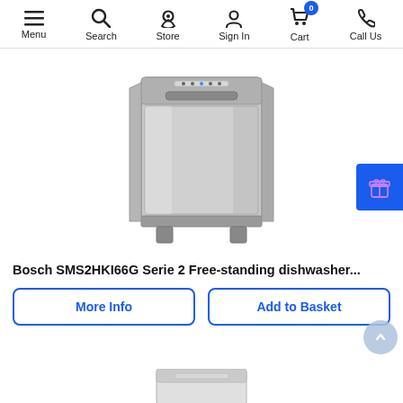Menu | Search | Store | Sign In | Cart (0) | Call Us
[Figure (photo): Bosch SMS2HKI66G Serie 2 Free-standing dishwasher in silver/stainless steel finish]
Bosch SMS2HKI66G Serie 2 Free-standing dishwasher...
More Info | Add to Basket